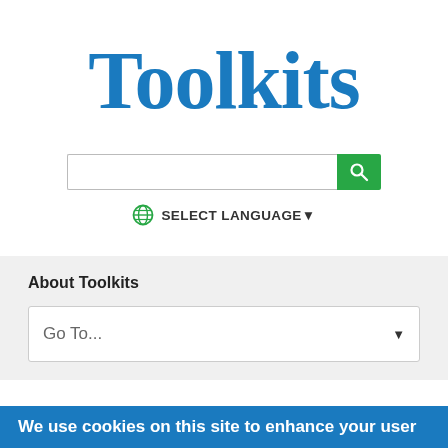Toolkits
[Figure (other): Search input box with green search button and globe icon with SELECT LANGUAGE dropdown]
About Toolkits
[Figure (other): Go To... dropdown selector]
We use cookies on this site to enhance your user